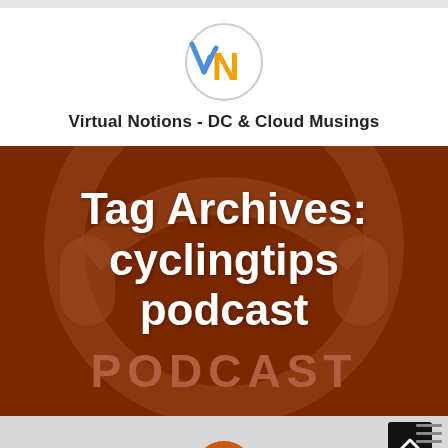[Figure (logo): Virtual Notions logo: circle with stylized vN letters in blue, orange, and gold]
Virtual Notions - DC & Cloud Musings
[Figure (illustration): Podcast banner image with dark brown/red background showing a stylized microphone/headphone icon in grey, with text 'Tag Archives: cyclingtips podcast' in white and 'PODCAST' in dark red letters at the bottom]